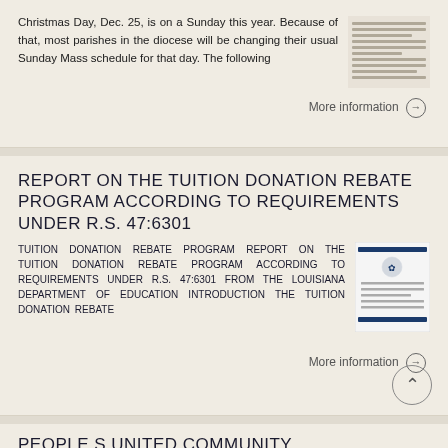Christmas Day, Dec. 25, is on a Sunday this year. Because of that, most parishes in the diocese will be changing their usual Sunday Mass schedule for that day. The following
More information →
REPORT ON THE TUITION DONATION REBATE PROGRAM ACCORDING TO REQUIREMENTS UNDER R.S. 47:6301
TUITION DONATION REBATE PROGRAM REPORT ON THE TUITION DONATION REBATE PROGRAM ACCORDING TO REQUIREMENTS UNDER R.S. 47:6301 FROM THE LOUISIANA DEPARTMENT OF EDUCATION INTRODUCTION The Tuition Donation Rebate
More information →
PEOPLE S UNITED COMMUNITY